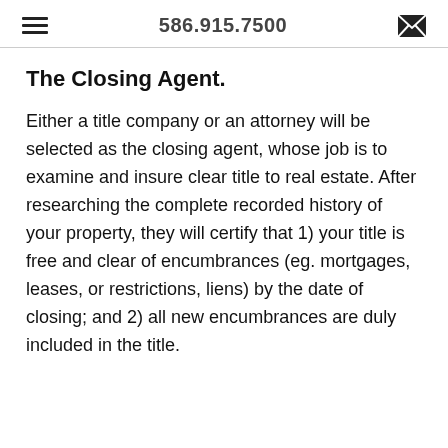586.915.7500
The Closing Agent.
Either a title company or an attorney will be selected as the closing agent, whose job is to examine and insure clear title to real estate. After researching the complete recorded history of your property, they will certify that 1) your title is free and clear of encumbrances (eg. mortgages, leases, or restrictions, liens) by the date of closing; and 2) all new encumbrances are duly included in the title.